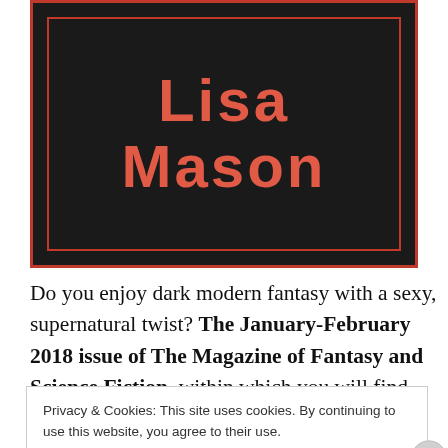[Figure (illustration): Book cover with dark/black background and coral/red border. Large text reads 'Lisa Mason' in coral/salmon colored bold font.]
Do you enjoy dark modern fantasy with a sexy, supernatural twist? The January-February 2018 issue of The Magazine of Fantasy and Science Fiction, within which you will find my well-received story, “Aurelia”, will be on the news stand for only two more weeks. Here’s one
Privacy & Cookies: This site uses cookies. By continuing to use this website, you agree to their use.
To find out more, including how to control cookies, see here: Cookie Policy
Close and accept